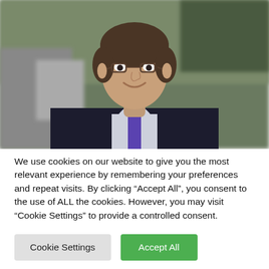[Figure (photo): Portrait photo of a man in a dark suit with a purple tie and glasses, smiling, with a blurred outdoor background]
We use cookies on our website to give you the most relevant experience by remembering your preferences and repeat visits. By clicking “Accept All”, you consent to the use of ALL the cookies. However, you may visit “Cookie Settings” to provide a controlled consent.